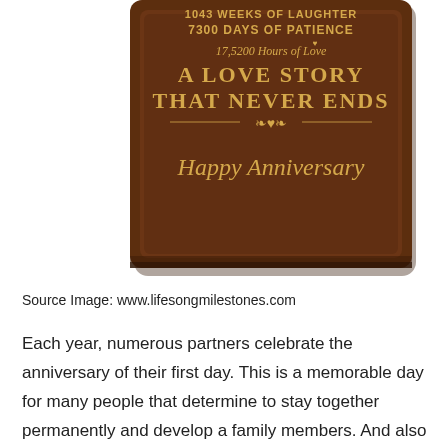[Figure (photo): A dark walnut wooden anniversary plaque with gold engraved text reading: 1043 WEEKS OF LAUGHTER, 7300 DAYS OF PATIENCE, 17,5200 Hours of Love, A LOVE STORY THAT NEVER ENDS, Happy Anniversary]
Source Image: www.lifesongmilestones.com
Each year, numerous partners celebrate the anniversary of their first day. This is a memorable day for many people that determine to stay together permanently and develop a family members. And also by choosing an appropriate gift, you can make the day much more